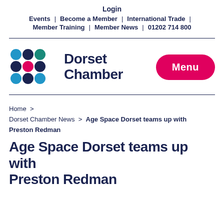Login | Events | Become a Member | International Trade | Member Training | Member News | 01202 714 800
[Figure (logo): Dorset Chamber logo with colorful dot grid and text 'Dorset Chamber']
Menu
Home > Dorset Chamber News > Age Space Dorset teams up with Preston Redman
Age Space Dorset teams up with Preston Redman